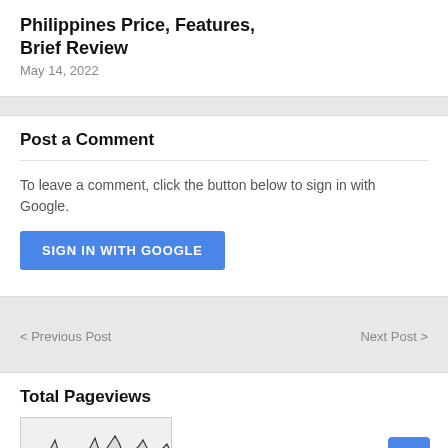Philippines Price, Features, Brief Review
May 14, 2022
Post a Comment
To leave a comment, click the button below to sign in with Google.
SIGN IN WITH GOOGLE
< Previous Post
Next Post >
Total Pageviews
[Figure (continuous-plot): A small thumbnail line/area chart showing pageview traffic over time with spiky peaks, dark line on light gray background.]